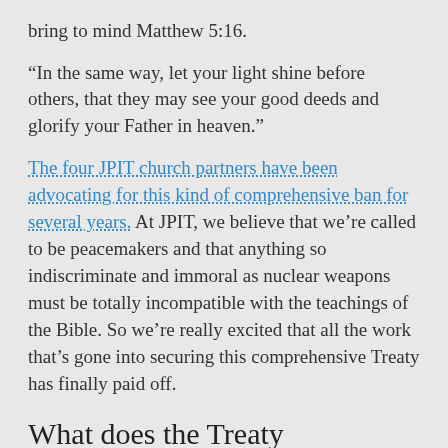bring to mind Matthew 5:16.
“In the same way, let your light shine before others, that they may see your good deeds and glorify your Father in heaven.”
The four JPIT church partners have been advocating for this kind of comprehensive ban for several years. At JPIT, we believe that we’re called to be peacemakers and that anything so indiscriminate and immoral as nuclear weapons must be totally incompatible with the teachings of the Bible. So we’re really excited that all the work that’s gone into securing this comprehensive Treaty has finally paid off.
What does the Treaty actually mean?